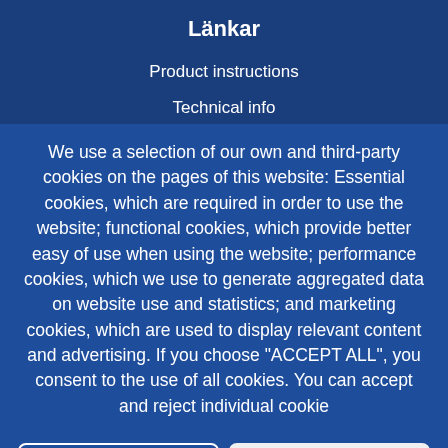Länkar
Product instructions
Technical info
We use a selection of our own and third-party cookies on the pages of this website: Essential cookies, which are required in order to use the website; functional cookies, which provide better easy of use when using the website; performance cookies, which we use to generate aggregated data on website use and statistics; and marketing cookies, which are used to display relevant content and advertising. If you choose "ACCEPT ALL", you consent to the use of all cookies. You can accept and reject individual cookie
COOKIE SETTINGS
ACCEPT ALL